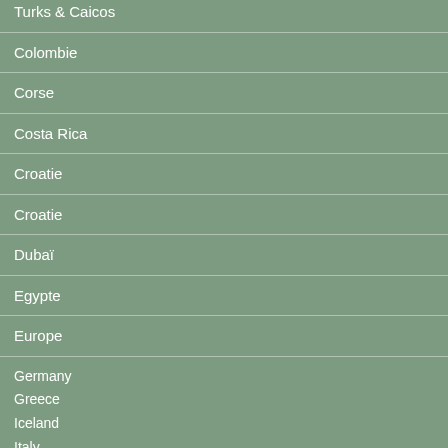Turks & Caicos
Colombie
Corse
Costa Rica
Croatie
Croatie
Dubaï
Egypte
Europe
Germany
Greece
Iceland
Italy
Netherlands
Portugal
Spain
France